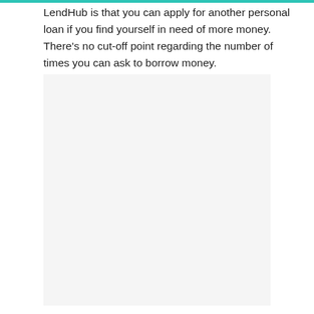LendHub is that you can apply for another personal loan if you find yourself in need of more money. There's no cut-off point regarding the number of times you can ask to borrow money.
[Figure (other): Light gray rectangular placeholder image area]